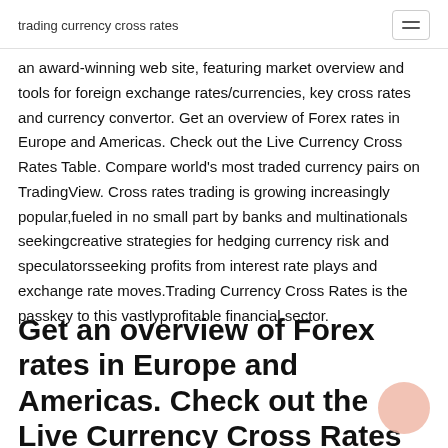trading currency cross rates
an award-winning web site, featuring market overview and tools for foreign exchange rates/currencies, key cross rates and currency convertor. Get an overview of Forex rates in Europe and Americas. Check out the Live Currency Cross Rates Table. Compare world's most traded currency pairs on TradingView. Cross rates trading is growing increasingly popular,fueled in no small part by banks and multinationals seekingcreative strategies for hedging currency risk and speculatorsseeking profits from interest rate plays and exchange rate moves.Trading Currency Cross Rates is the passkey to this vastlyprofitable financial sector.
Get an overview of Forex rates in Europe and Americas. Check out the Live Currency Cross Rates Table. Compare world's most traded currency pairs on